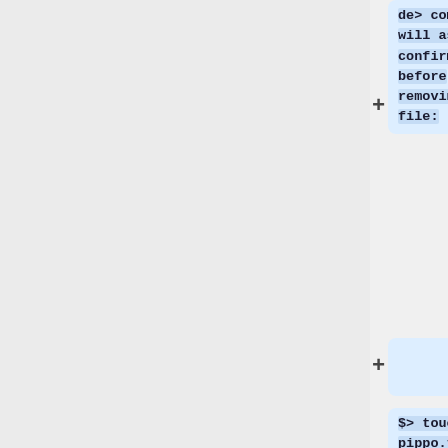de> command will ask for confirmation before removing a file:
$> touch pippo.txt      #create an empty file
$> rm pippo.txt

#will ask: remove pippo.txt? (y/n)